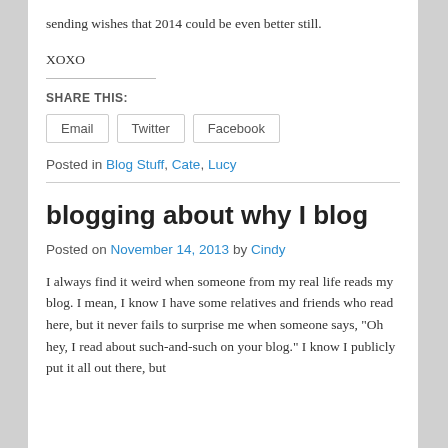sending wishes that 2014 could be even better still.
XOXO
SHARE THIS:
Email  Twitter  Facebook
Posted in Blog Stuff, Cate, Lucy
blogging about why I blog
Posted on November 14, 2013 by Cindy
I always find it weird when someone from my real life reads my blog. I mean, I know I have some relatives and friends who read here, but it never fails to surprise me when someone says, "Oh hey, I read about such-and-such on your blog." I know I publicly put it all out there, but